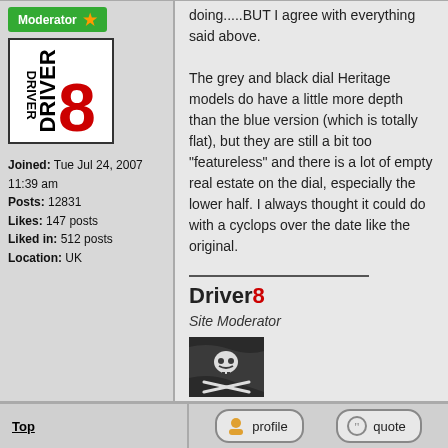[Figure (illustration): Moderator badge (green) with star icon]
[Figure (illustration): User avatar: DRIVER8 logo with red 8]
Joined: Tue Jul 24, 2007 11:39 am
Posts: 12831
Likes: 147 posts
Liked in: 512 posts
Location: UK
doing.....BUT I agree with everything said above.

The grey and black dial Heritage models do have a little more depth than the blue version (which is totally flat), but they are still a bit too "featureless" and there is a lot of empty real estate on the dial, especially the lower half. I always thought it could do with a cyclops over the date like the original.
Driver8
Site Moderator
[Figure (illustration): Pirate flag (Jolly Roger) image]
Top
profile
quote